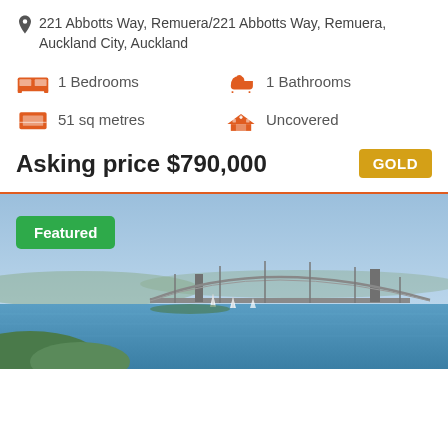221 Abbotts Way, Remuera/221 Abbotts Way, Remuera, Auckland City, Auckland
1 Bedrooms
1 Bathrooms
51 sq metres
Uncovered
Asking price $790,000
[Figure (photo): Aerial panoramic view of Auckland Harbour Bridge and Waitemata Harbour with sailboats on the water, blue sky and green hills in the background. A 'Featured' green badge overlays the top-left corner.]